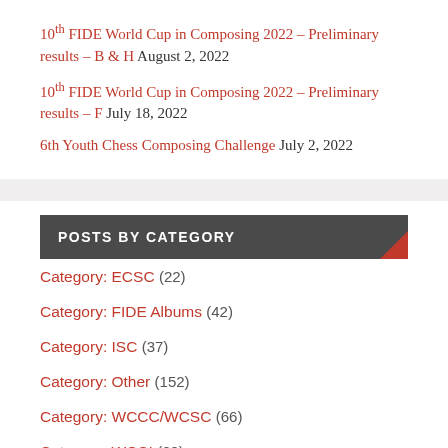10th FIDE World Cup in Composing 2022 – Preliminary results – B & H August 2, 2022
10th FIDE World Cup in Composing 2022 – Preliminary results – F July 18, 2022
6th Youth Chess Composing Challenge July 2, 2022
POSTS BY CATEGORY
Category: ECSC (22)
Category: FIDE Albums (42)
Category: ISC (37)
Category: Other (152)
Category: WCCC/WCSC (66)
Category: WCCI (29)
Category: WCCT (18)